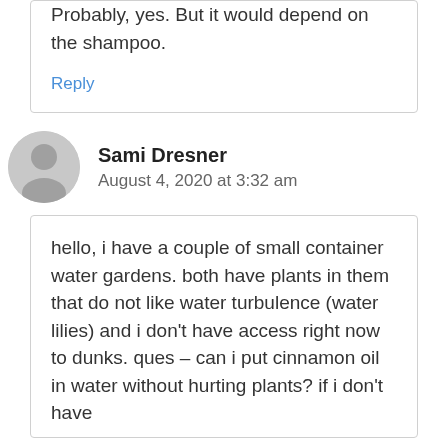Probably, yes. But it would depend on the shampoo.
Reply
Sami Dresner
August 4, 2020 at 3:32 am
hello, i have a couple of small container water gardens. both have plants in them that do not like water turbulence (water lilies) and i don't have access right now to dunks. ques – can i put cinnamon oil in water without hurting plants? if i don't have